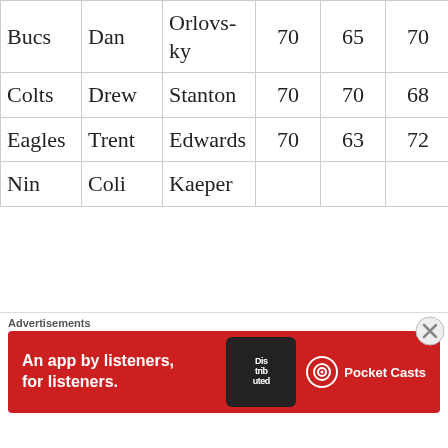| Bucs | Dan | Orlovsky | 70 | 65 | 70 | 79 | 65 |
| Colts | Drew | Stanton | 70 | 70 | 68 | 86 | 73 |
| Eagles | Trent | Edwards | 70 | 63 | 72 | 82 | 54 |
| Nin | Coli | Kaepernick |  |  |  |  |  |
Advertisements
[Figure (other): Pocket Casts advertisement banner reading 'An app by listeners, for listeners.' with phone graphic and Pocket Casts logo on red background]